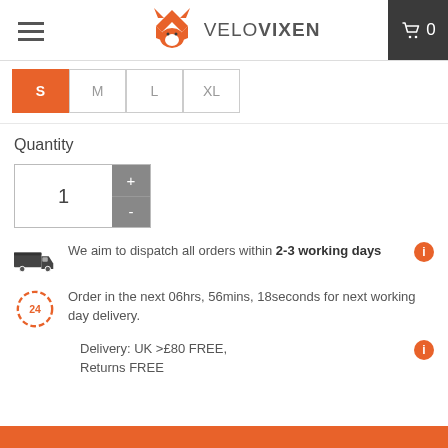VELOVIXEN [logo with fox icon] [hamburger menu] [cart icon 0]
S (selected), M, L, XL size buttons
Quantity
1 [+ / - quantity control]
We aim to dispatch all orders within 2-3 working days
Order in the next 06hrs, 56mins, 18seconds for next working day delivery.
Delivery: UK >£80 FREE, Returns FREE